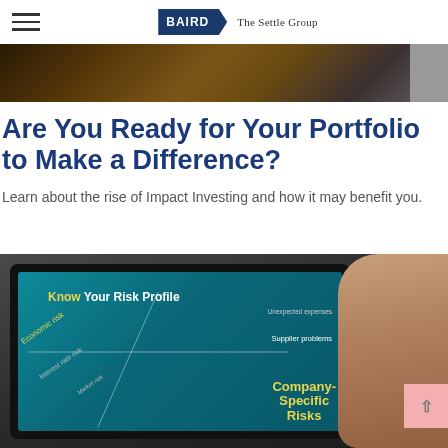BAIRD The Settle Group
[Figure (photo): Hero banner image showing an aerial/landscape view with warm golden tones, partial grey panel on the right side]
Are You Ready for Your Portfolio to Make a Difference?
Learn about the rise of Impact Investing and how it may benefit you.
[Figure (photo): Person holding a tablet device showing a teal-screened infographic about 'Know Your Risk Profile' with text elements including Economic risk, Interest rate risk, Market risk, Company-Specific Risks, Supplier problems, Unexpected expenses in yellow and white text on blue-green background]